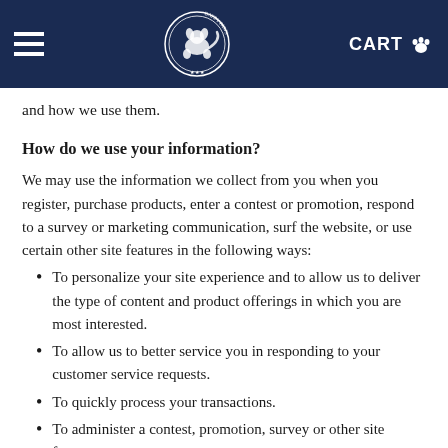CART [paw icon]
and how we use them.
How do we use your information?
We may use the information we collect from you when you register, purchase products, enter a contest or promotion, respond to a survey or marketing communication, surf the website, or use certain other site features in the following ways:
To personalize your site experience and to allow us to deliver the type of content and product offerings in which you are most interested.
To allow us to better service you in responding to your customer service requests.
To quickly process your transactions.
To administer a contest, promotion, survey or other site feature.
If you have opted-in to receive our e-mail newsletter,